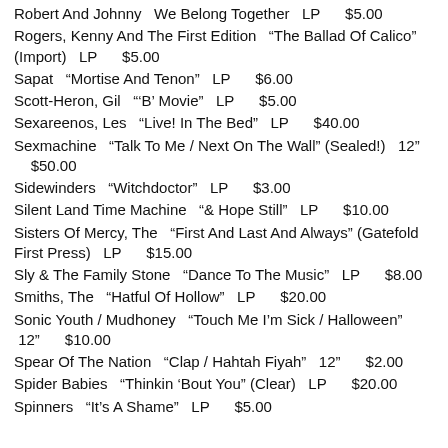Robert And Johnny   We Belong Together   LP     $5.00
Rogers, Kenny And The First Edition   "The Ballad Of Calico" (Import)   LP     $5.00
Sapat   "Mortise And Tenon"   LP     $6.00
Scott-Heron, Gil   "'B' Movie"   LP     $5.00
Sexareenos, Les   "Live! In The Bed"   LP     $40.00
Sexmachine   "Talk To Me / Next On The Wall" (Sealed!)   12"     $50.00
Sidewinders   "Witchdoctor"   LP     $3.00
Silent Land Time Machine   "& Hope Still"   LP     $10.00
Sisters Of Mercy, The   "First And Last And Always" (Gatefold First Press)   LP     $15.00
Sly & The Family Stone   "Dance To The Music"   LP     $8.00
Smiths, The   "Hatful Of Hollow"   LP     $20.00
Sonic Youth / Mudhoney   "Touch Me I'm Sick / Halloween"   12"     $10.00
Spear Of The Nation   "Clap / Hahtah Fiyah"   12"     $2.00
Spider Babies   "Thinkin 'Bout You" (Clear)   LP     $20.00
Spinners   "It's A Shame"   LP     $5.00